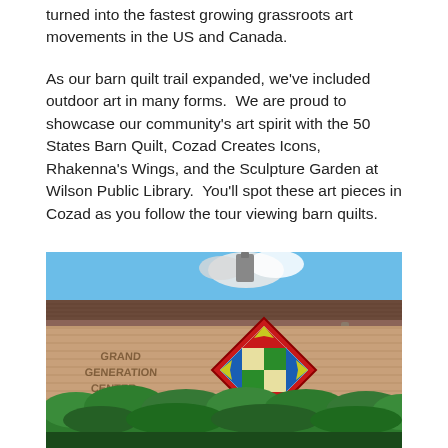turned into the fastest growing grassroots art movements in the US and Canada.
As our barn quilt trail expanded, we've included outdoor art in many forms.  We are proud to showcase our community's art spirit with the 50 States Barn Quilt, Cozad Creates Icons, Rhakenna's Wings, and the Sculpture Garden at Wilson Public Library.  You'll spot these art pieces in Cozad as you follow the tour viewing barn quilts.
[Figure (photo): Photograph of a brick building exterior labeled 'Grand Generation Center' with a decorative barn quilt mounted on the wall — a square quilt block pattern in red, blue, green, and yellow, set on a diamond angle. Shrubs in the foreground and a blue sky with clouds visible above the roofline.]